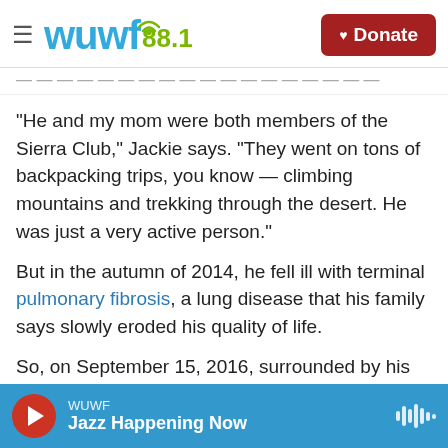WUWF 88.1 — Donate
"He and my mom were both members of the Sierra Club," Jackie says. "They went on tons of backpacking trips, you know — climbing mountains and trekking through the desert. He was just a very active person."
But in the autumn of 2014, he fell ill with terminal pulmonary fibrosis, a lung disease that his family says slowly eroded his quality of life.
So, on September 15, 2016, surrounded by his family, John Minor sipped his last drink: apple juice
WUWF — Jazz Happening Now